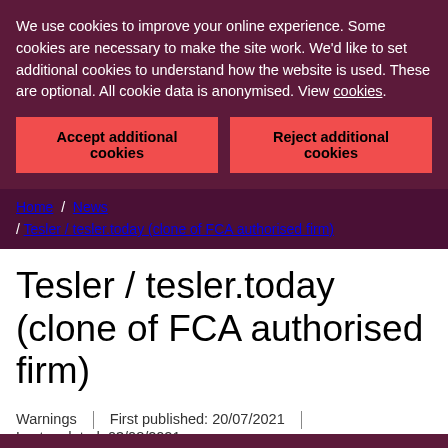We use cookies to improve your online experience. Some cookies are necessary to make the site work. We'd like to set additional cookies to understand how the website is used. These are optional. All cookie data is anonymised. View cookies.
Accept additional cookies
Reject additional cookies
Home / News / Tesler / tesler.today (clone of FCA authorised firm)
Tesler / tesler.today (clone of FCA authorised firm)
Warnings | First published: 20/07/2021 | Last updated: 03/08/2021